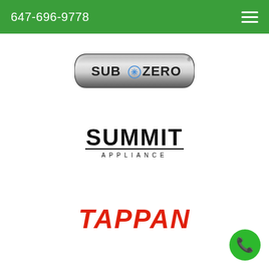647-696-9778
[Figure (logo): Sub-Zero brand logo — silver metallic pill-shaped badge with 'SUB*ZERO' text and blue snowflake icon, registered trademark]
[Figure (logo): Summit Appliance brand logo — bold black uppercase 'SUMMIT' with 'APPLIANCE' in smaller caps below, spaced underline]
[Figure (logo): Tappan brand logo — bold italic red/orange 'TAPPAN' text]
[Figure (logo): Green circular phone call button with white telephone handset icon, bottom right corner]